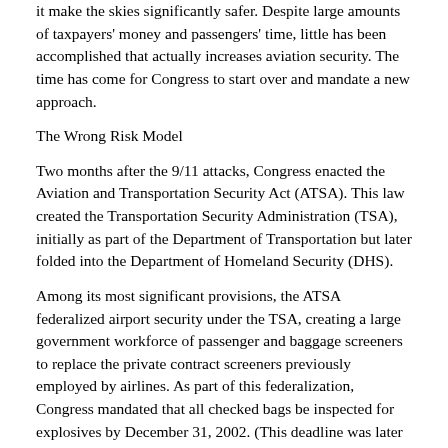it make the skies significantly safer. Despite large amounts of taxpayers' money and passengers' time, little has been accomplished that actually increases aviation security. The time has come for Congress to start over and mandate a new approach.
The Wrong Risk Model
Two months after the 9/11 attacks, Congress enacted the Aviation and Transportation Security Act (ATSA). This law created the Transportation Security Administration (TSA), initially as part of the Department of Transportation but later folded into the Department of Homeland Security (DHS).
Among its most significant provisions, the ATSA federalized airport security under the TSA, creating a large government workforce of passenger and baggage screeners to replace the private contract screeners previously employed by airlines. As part of this federalization, Congress mandated that all checked bags be inspected for explosives by December 31, 2002. (This deadline was later pushed back another year).
The federalizing of airport security is built on two assumptions:
All passengers are equally suspicious and should receive the same scrutiny, and
The principal purpose of airport security is to keep dangerous objects (e.g., knives, guns, and bombs) off of